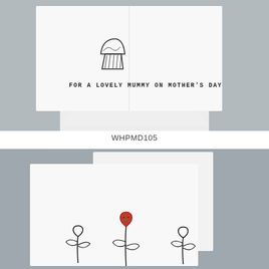[Figure (photo): A white greeting card with a cupcake drawing and stamped text reading 'FOR A LOVELY MUMMY ON MOTHER'S DAY', displayed with a white envelope against a grey background.]
WHPMD105
[Figure (photo): A white greeting card featuring a line drawing of three heart-shaped flowers on stems with leaves, the centre flower having a red felt heart embellishment tied with twine, displayed against a grey background.]